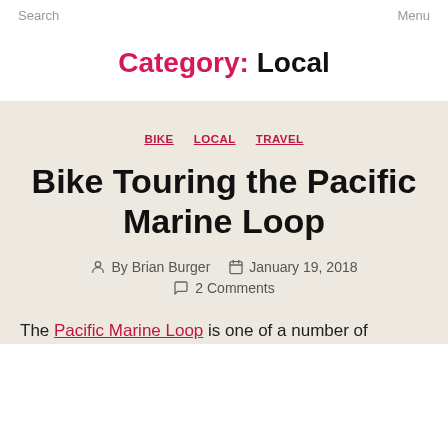Search    Menu
Category: Local
BIKE  LOCAL  TRAVEL
Bike Touring the Pacific Marine Loop
By Brian Burger   January 19, 2018   2 Comments
The Pacific Marine Loop is one of a number of